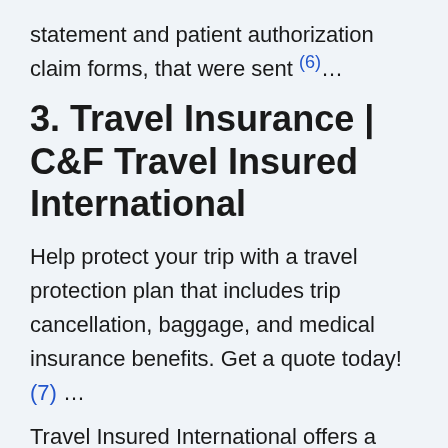statement and patient authorization claim forms, that were sent (6)…
3. Travel Insurance | C&F Travel Insured International
Help protect your trip with a travel protection plan that includes trip cancellation, baggage, and medical insurance benefits. Get a quote today! (7) …
Travel Insured International offers a